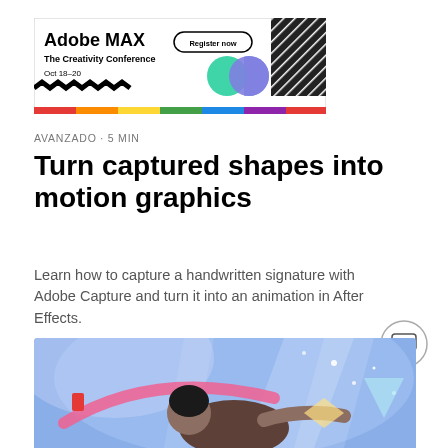[Figure (illustration): Adobe MAX - The Creativity Conference banner ad with rainbow bar, Register now button, decorative shapes, circles, and hatched pattern. Oct 18-20.]
AVANZADO · 5 MIN
Turn captured shapes into motion graphics
Learn how to capture a handwritten signature with Adobe Capture and turn it into an animation in After Effects.
[Figure (illustration): Colorful illustration showing an animated character against a blue abstract background with light streaks and geometric shapes.]